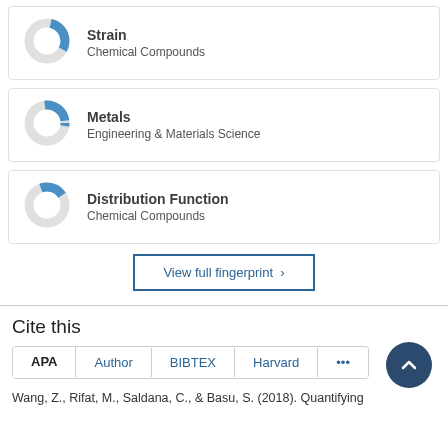[Figure (donut-chart): Donut chart with roughly 30% blue fill]
[Figure (donut-chart): Donut chart with roughly 25% blue fill]
[Figure (donut-chart): Donut chart with roughly 22% blue fill]
View full fingerprint >
Cite this
APA | Author | BIBTEX | Harvard | ...
Wang, Z., Rifat, M., Saldana, C., & Basu, S. (2018). Quantifying the...